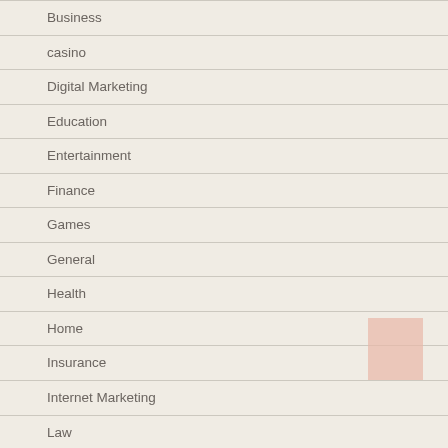Business
casino
Digital Marketing
Education
Entertainment
Finance
Games
General
Health
Home
Insurance
Internet Marketing
Law
Pets